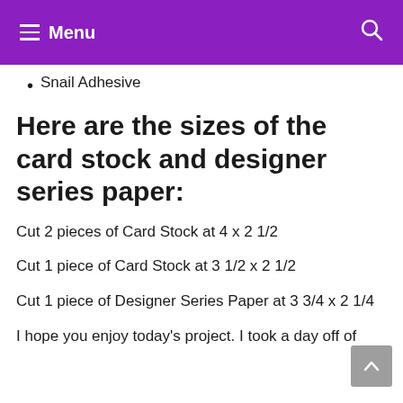≡ Menu  🔍
Snail Adhesive
Here are the sizes of the card stock and designer series paper:
Cut 2 pieces of Card Stock at 4 x 2 1/2
Cut 1 piece of Card Stock at 3 1/2 x 2 1/2
Cut 1 piece of Designer Series Paper at 3 3/4 x 2 1/4
I hope you enjoy today's project. I took a day off of